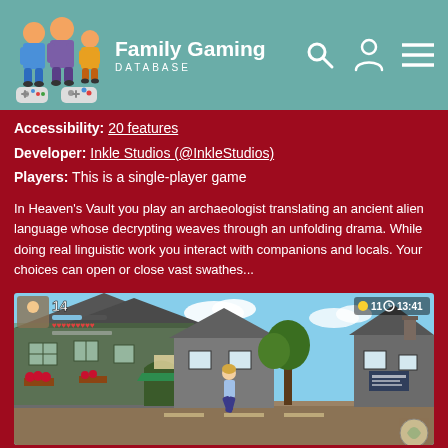Family Gaming DATABASE
Accessibility: 20 features
Developer: Inkle Studios (@InkleStudios)
Players: This is a single-player game
In Heaven's Vault you play an archaeologist translating an ancient alien language whose decrypting weaves through an unfolding drama. While doing real linguistic work you interact with companions and locals. Your choices can open or close vast swathes...
[Figure (screenshot): In-game screenshot of Heaven's Vault showing a character running through a village street scene with stone buildings and ivy-covered walls, with game HUD showing health hearts and timer 13:41]